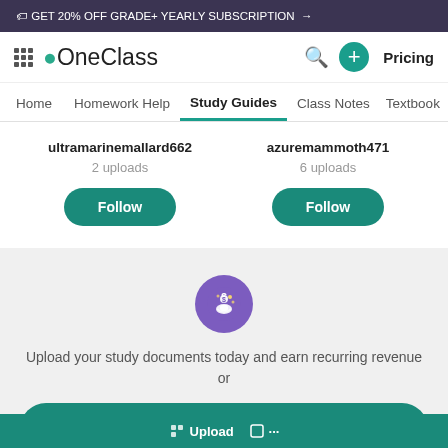🏷 GET 20% OFF GRADE+ YEARLY SUBSCRIPTION →
[Figure (logo): OneClass logo with grid icon and apple symbol]
Home  Homework Help  Study Guides  Class Notes  Textbook
ultramarinemallard662
2 uploads
azuremammoth471
6 uploads
Upload your study documents today and earn recurring revenue or
Log in or Sign up
Upload